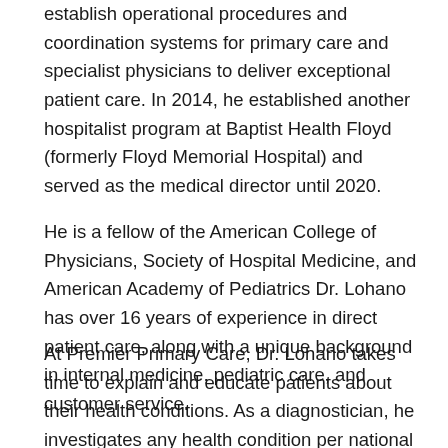establish operational procedures and coordination systems for primary care and specialist physicians to deliver exceptional patient care. In 2014, he established another hospitalist program at Baptist Health Floyd (formerly Floyd Memorial Hospital) and served as the medical director until 2020.
He is a fellow of the American College of Physicians, Society of Hospital Medicine, and American Academy of Pediatrics Dr. Lohano has over 16 years of experience in direct patient care, along with a unique background in internal medicine, pediatric care, and customer service.
At Premier Primary Care, Dr. Lohano takes time to explain and educate patients about their health conditions. As a diagnostician, he investigates any health condition per national guidelines. He prides himself on delivering exceptional customer service and aims to provide the best patient experience from the moment they call the office, to